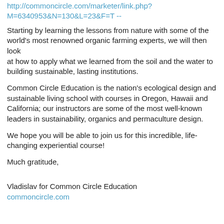http://commoncircle.com/marketer/link.php?M=6340953&N=130&L=23&F=T --
Starting by learning the lessons from nature with some of the world's most renowned organic farming experts, we will then look at how to apply what we learned from the soil and the water to building sustainable, lasting institutions.
Common Circle Education is the nation's ecological design and sustainable living school with courses in Oregon, Hawaii and California; our instructors are some of the most well-known leaders in sustainability, organics and permaculture design.
We hope you will be able to join us for this incredible, life-changing experiential course!
Much gratitude,
Vladislav for Common Circle Education
commoncircle.com